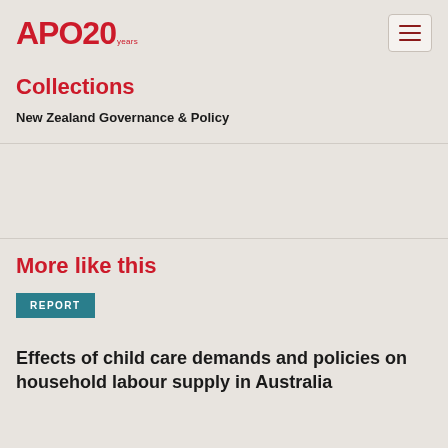APO 20 years
Collections
New Zealand Governance & Policy
More like this
REPORT
Effects of child care demands and policies on household labour supply in Australia